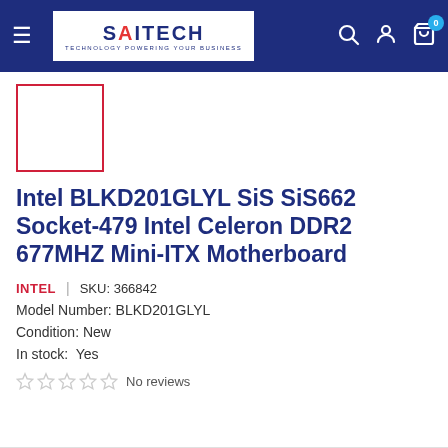SAITECH — TECHNOLOGY POWERING YOUR BUSINESS
[Figure (other): Product image placeholder — white box with red border]
Intel BLKD201GLYL SiS SiS662 Socket-479 Intel Celeron DDR2 677MHZ Mini-ITX Motherboard
INTEL   |   SKU: 366842
Model Number: BLKD201GLYL
Condition: New
In stock:  Yes
☆ ☆ ☆ ☆ ☆   No reviews